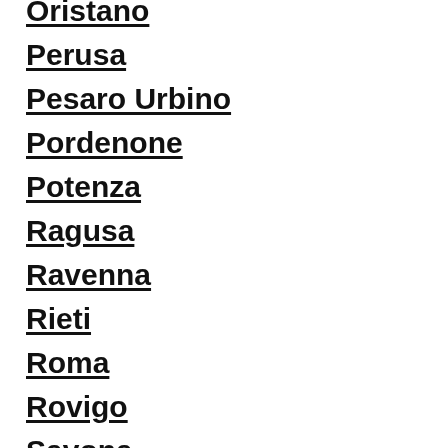Oristano
Perusa
Pesaro Urbino
Pordenone
Potenza
Ragusa
Ravenna
Rieti
Roma
Rovigo
Savona
Siena
Siracusa